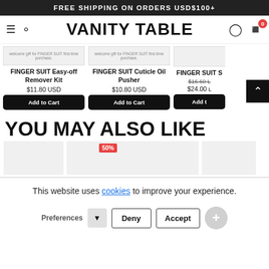FREE SHIPPING ON ORDERS USD$100+
[Figure (screenshot): Navigation bar with hamburger menu, search icon, VANITY TABLE brand name, user icon, and cart icon with badge showing 0]
[Figure (screenshot): Product grid row showing three products: FINGER SUIT Easy-off Remover Kit $11.80 USD, FINGER SUIT Cuticle Oil Pusher $10.80 USD, and FINGER SUIT S (partially visible) with strikethrough price $16.60 and sale price $24.00, each with Add to Cart buttons]
YOU MAY ALSO LIKE
[Figure (screenshot): Partial product thumbnails row with 50% badge on second thumbnail]
This website uses cookies to improve your experience.
Preferences  Deny  Accept